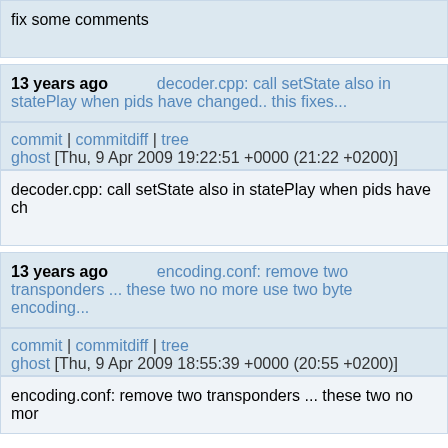fix some comments
13 years ago   decoder.cpp: call setState also in statePlay when pids have changed.. this fixes...
commit | commitdiff | tree
ghost [Thu, 9 Apr 2009 19:22:51 +0000 (21:22 +0200)]
decoder.cpp: call setState also in statePlay when pids have ch
13 years ago   encoding.conf: remove two transponders ... these two no more use two byte encoding...
commit | commitdiff | tree
ghost [Thu, 9 Apr 2009 18:55:39 +0000 (20:55 +0200)]
encoding.conf: remove two transponders ... these two no mor